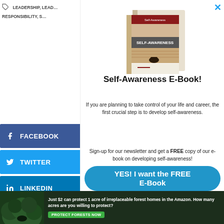LEADERSHIP, LEAD... RESPONSIBILITY, S...
FACEBOOK
TWITTER
LINKEDIN
PINTEREST
[Figure (illustration): Self-Awareness E-Book cover image showing two stacked books]
Self-Awareness E-Book!
If you are planning to take control of your life and career, the first crucial step is to develop self-awareness.
Sign-up for our newsletter and get a FREE copy of our e-book on developing self-awareness!
YES! I want the FREE E-Book
[Figure (photo): Amazon forest ad banner showing trees with text: Just $2 can protect 1 acre of irreplaceable forest homes in the Amazon. How many acres are you willing to protect? PROTECT FORESTS NOW]